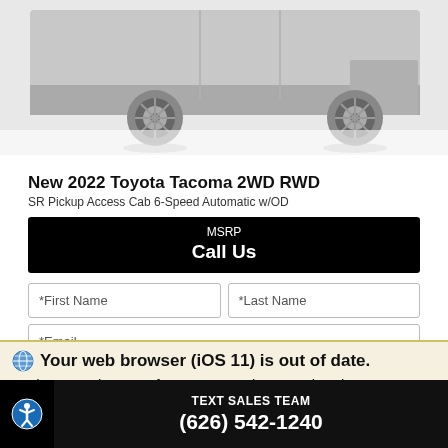[Figure (photo): Partial rear/side view of a Toyota Tacoma pickup truck in gray, cropped to show only the lower portion of the vehicle against a white background.]
New 2022 Toyota Tacoma 2WD RWD
SR Pickup Access Cab 6-Speed Automatic w/OD
MSRP
Call Us
*First Name
*Last Name
*Email
Phone
Get Our Best Price
Your web browser (iOS 11) is out of date.
Update your browser for more security, speed and
TEXT SALES TEAM
(626) 542-1240